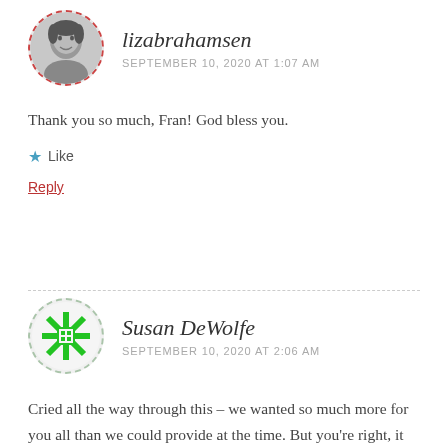[Figure (photo): Circular avatar photo of lizabrahamsen with dashed red border, black and white portrait photo]
lizabrahamsen
SEPTEMBER 10, 2020 AT 1:07 AM
Thank you so much, Fran! God bless you.
★ Like
Reply
[Figure (illustration): Circular avatar icon for Susan DeWolfe with dashed green border, green geometric star/snowflake shape inside]
Susan DeWolfe
SEPTEMBER 10, 2020 AT 2:06 AM
Cried all the way through this – we wanted so much more for you all than we could provide at the time. But you're right, it built character that we otherwise would not have had – for all of us. It helped us focus on what we did have